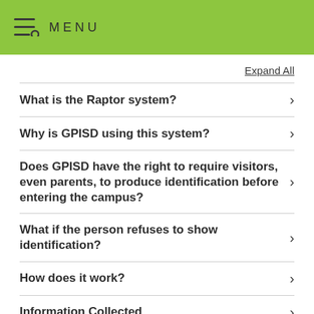MENU
Expand All
What is the Raptor system?
Why is GPISD using this system?
Does GPISD have the right to require visitors, even parents, to produce identification before entering the campus?
What if the person refuses to show identification?
How does it work?
Information Collected
Permissions